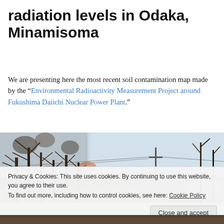radiation levels in Odaka, Minamisoma
We are presenting here the most recent soil contamination map made by the “Environmental Radioactivity Measurement Project around Fukushima Daiichi Nuclear Power Plant.”
[Figure (photo): Outdoor winter scene showing bare trees on the left side against a pale sky, with power lines, distant hills, and a vehicle visible on the right side of the road.]
Privacy & Cookies: This site uses cookies. By continuing to use this website, you agree to their use.
To find out more, including how to control cookies, see here: Cookie Policy
Close and accept